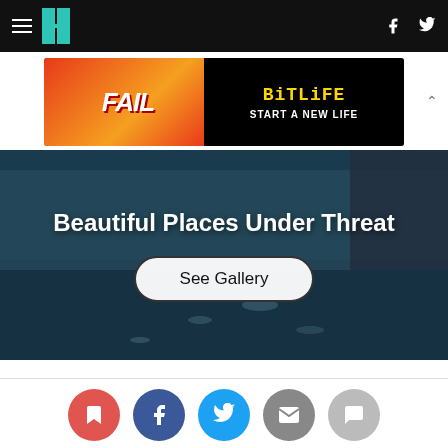HuffPost navigation with hamburger menu, logo, Facebook and Twitter icons
[Figure (photo): Advertisement banner for BitLife app - START A NEW LIFE]
[Figure (photo): Gallery promo image of icy water with glacier - Beautiful Places Under Threat - See Gallery button]
[Figure (infographic): Social share icons row: bookmark (red), Facebook (dark blue), Twitter (light blue), email (grey), comment (light grey)]